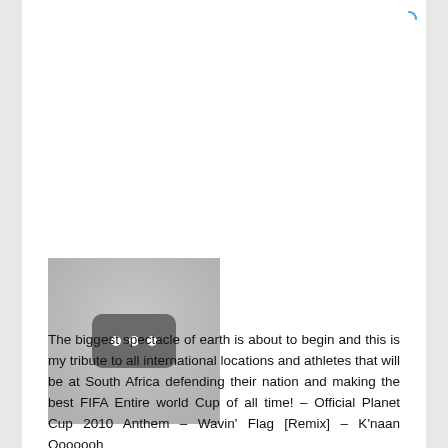[Figure (screenshot): Loading spinner / activity indicator arc in blue, top-right corner of page]
[Figure (illustration): Gray placeholder thumbnail image with a dark rounded rectangle containing three white dots (ellipsis/loading icon) in the center]
The biggest spectacle of earth is about to begin and this is my tribute to all international locations and athletes that will be at South Africa defending their nation and making the best FIFA Entire world Cup of all time! – Official Planet Cup 2010 Anthem – Wavin' Flag [Remix] – K'naan Ooooooh